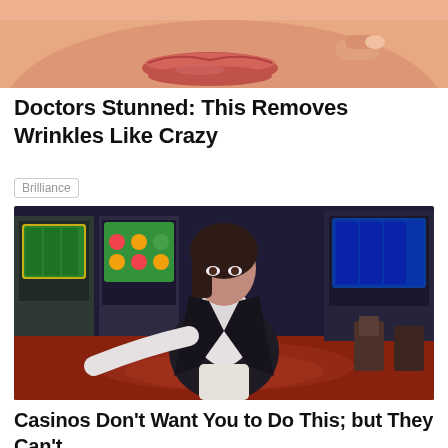[Figure (photo): Close-up photo of a woman's lower face and lips, with a finger near her face, skin-tone background]
Doctors Stunned: This Removes Wrinkles Like Crazy
Brilliance
[Figure (photo): Woman in white shirt and black blazer sitting in a casino with slot machines visible in the background]
Casinos Don't Want You to Do This; but They Can't